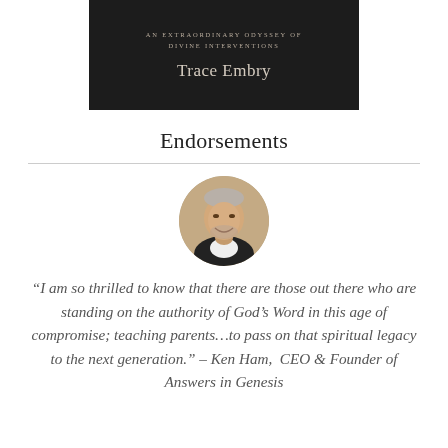[Figure (photo): Book cover with dark background showing subtitle 'An Extraordinary Odyssey of Divine Interventions' and author name 'Trace Embry']
Endorsements
[Figure (photo): Circular portrait photo of a middle-aged man with short hair, smiling, wearing a dark jacket]
“I am so thrilled to know that there are those out there who are standing on the authority of God’s Word in this age of compromise; teaching parents…to pass on that spiritual legacy to the next generation.” – Ken Ham,  CEO & Founder of Answers in Genesis